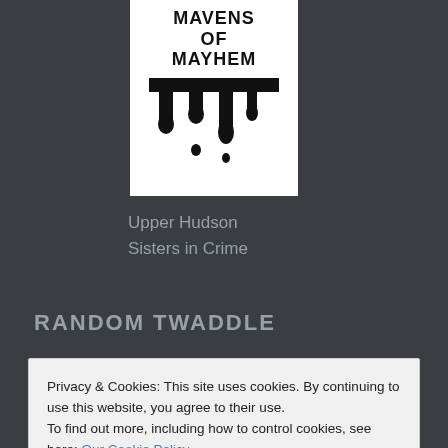[Figure (logo): Book cover logo for Mavens of Mayhem showing the title text and a dripping black ink design on white background]
Upper Hudson
Sisters in Crime
RANDOM TWADDLE
Privacy & Cookies: This site uses cookies. By continuing to use this website, you agree to their use.
To find out more, including how to control cookies, see here: Our Cookie Policy
Close and accept